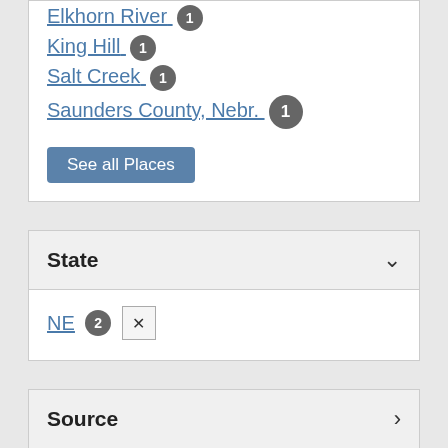Elkhorn River 1
King Hill 1
Salt Creek 1
Saunders County, Nebr. 1
See all Places
State
NE 2 ✕
Source
Publisher